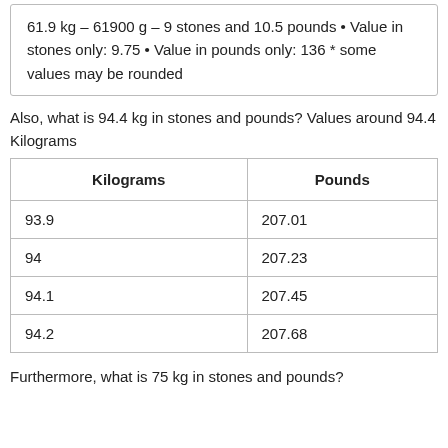61.9 kg – 61900 g – 9 stones and 10.5 pounds • Value in stones only: 9.75 • Value in pounds only: 136 * some values may be rounded
Also, what is 94.4 kg in stones and pounds? Values around 94.4 Kilograms
| Kilograms | Pounds |
| --- | --- |
| 93.9 | 207.01 |
| 94 | 207.23 |
| 94.1 | 207.45 |
| 94.2 | 207.68 |
Furthermore, what is 75 kg in stones and pounds?